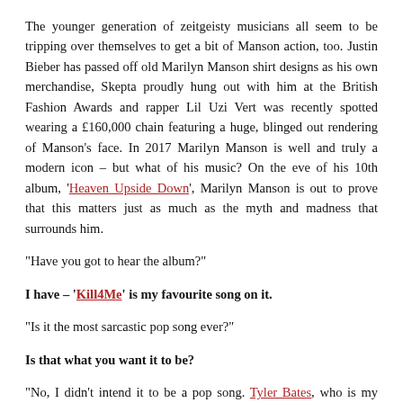The younger generation of zeitgeisty musicians all seem to be tripping over themselves to get a bit of Manson action, too. Justin Bieber has passed off old Marilyn Manson shirt designs as his own merchandise, Skepta proudly hung out with him at the British Fashion Awards and rapper Lil Uzi Vert was recently spotted wearing a £160,000 chain featuring a huge, blinged out rendering of Manson's face. In 2017 Marilyn Manson is well and truly a modern icon – but what of his music? On the eve of his 10th album, 'Heaven Upside Down', Marilyn Manson is out to prove that this matters just as much as the myth and madness that surrounds him.
“Have you got to hear the album?”
I have – 'Kill4Me' is my favourite song on it.
“Is it the most sarcastic pop song ever?”
Is that what you want it to be?
“No, I didn’t intend it to be a pop song. Tyler Bates, who is my music partner, is also a sick, f**king dark, twisted f**ker. He scores films [Guardians Of The Galaxy, John Wick, Dawn Of The Dead] and we were trying to find the point in the record where there was going to be a story – that was the point when the story began. It’s very romantic – I wrote the lyrics almost as a poem. I just simply said, ‘Would you kill for me?’ It was almost trying to make fun of the fact that I hate songs